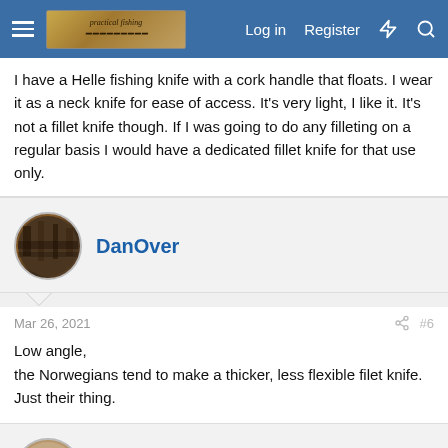Forum navigation bar with hamburger menu, logo, Log in, Register links
I have a Helle fishing knife with a cork handle that floats. I wear it as a neck knife for ease of access. It's very light, I like it. It's not a fillet knife though. If I was going to do any filleting on a regular basis I would have a dedicated fillet knife for that use only.
DanOver
Mar 26, 2021
#6
Low angle,
the Norwegians tend to make a thicker, less flexible filet knife. Just their thing.
PeteStaehling